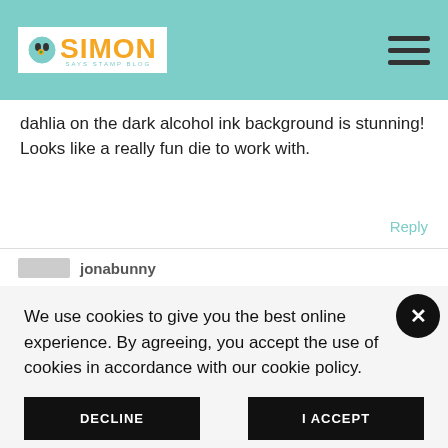Simon Says Stamp Blog
dahlia on the dark alcohol ink background is stunning! Looks like a really fun die to work with.
Reply
jonabunny
We use cookies to give you the best online experience. By agreeing, you accept the use of cookies in accordance with our cookie policy.
DECLINE
I ACCEPT
Privacy Policy   Cookie Policy
Great ideas; you inspired me! TFS!